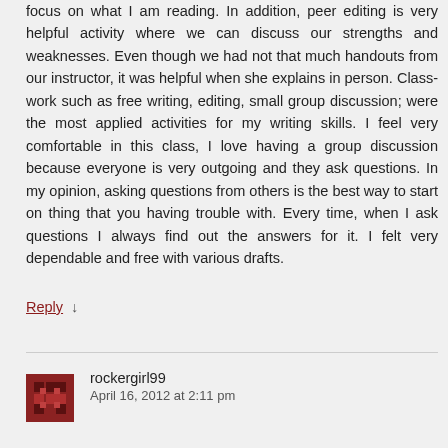focus on what I am reading. In addition, peer editing is very helpful activity where we can discuss our strengths and weaknesses. Even though we had not that much handouts from our instructor, it was helpful when she explains in person. Class-work such as free writing, editing, small group discussion; were the most applied activities for my writing skills. I feel very comfortable in this class, I love having a group discussion because everyone is very outgoing and they ask questions. In my opinion, asking questions from others is the best way to start on thing that you having trouble with. Every time, when I ask questions I always find out the answers for it. I felt very dependable and free with various drafts.
Reply ↓
rockergirl99
April 16, 2012 at 2:11 pm